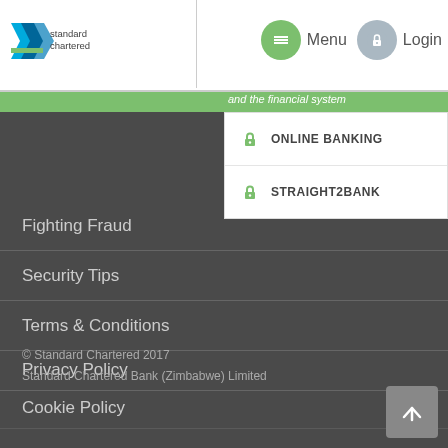[Figure (logo): Standard Chartered bank logo with chevron mark and company name]
Menu  Login
and the financial system
ONLINE BANKING
STRAIGHT2BANK
Fighting Fraud
Security Tips
Terms & Conditions
Privacy Policy
Cookie Policy
Sitemap
© Standard Chartered 2017
Standard Chartered Bank (Zimbabwe) Limited